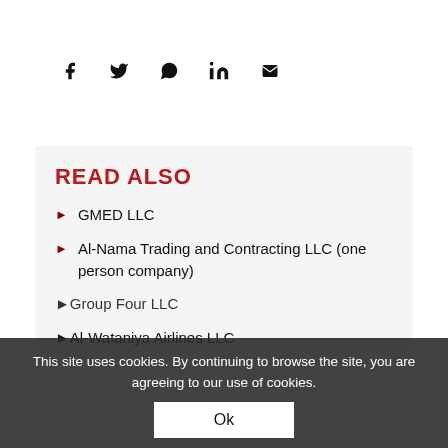[Figure (other): Social sharing icons row: Facebook (f), Twitter (bird), WhatsApp (phone), LinkedIn (in), Email (envelope)]
READ ALSO
GMED LLC
Al-Nama Trading and Contracting LLC (one person company)
Group Four LLC
Al-Wataniya Airlines LLC
This site uses cookies. By continuing to browse the site, you are agreeing to our use of cookies.
Ok